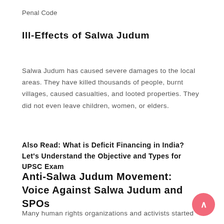Penal Code
Ill-Effects of Salwa Judum
Salwa Judum has caused severe damages to the local areas. They have killed thousands of people, burnt villages, caused casualties, and looted properties. They did not even leave children, women, or elders.
Also Read: What is Deficit Financing in India? Let's Understand the Objective and Types for UPSC Exam
Anti-Salwa Judum Movement: Voice Against Salwa Judum and SPOs
Many human rights organizations and activists started